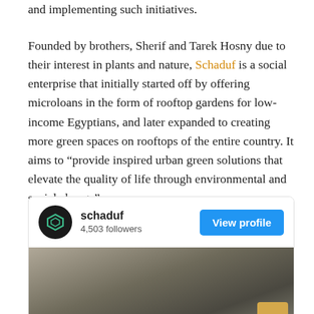and implementing such initiatives.
Founded by brothers, Sherif and Tarek Hosny due to their interest in plants and nature, Schaduf is a social enterprise that initially started off by offering microloans in the form of rooftop gardens for low-income Egyptians, and later expanded to creating more green spaces on rooftops of the entire country. It aims to “provide inspired urban green solutions that elevate the quality of life through environmental and social change”.
[Figure (screenshot): Instagram/social media profile card for 'schaduf' showing 4,503 followers and a 'View profile' button, with a photo of a rooftop or outdoor scene below.]